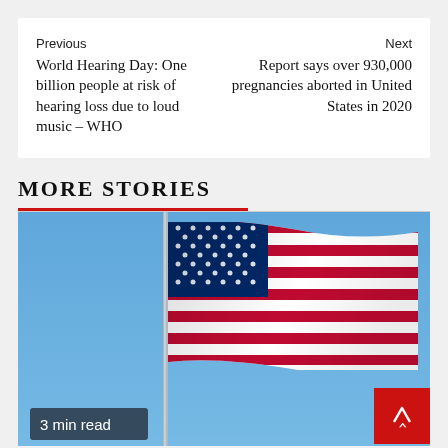Previous
World Hearing Day: One billion people at risk of hearing loss due to loud music – WHO
Next
Report says over 930,000 pregnancies aborted in United States in 2020
MORE STORIES
[Figure (photo): American flag waving against a blue sky on a flagpole, with a '3 min read' badge overlay in the bottom left and a red scroll-up button in the bottom right.]